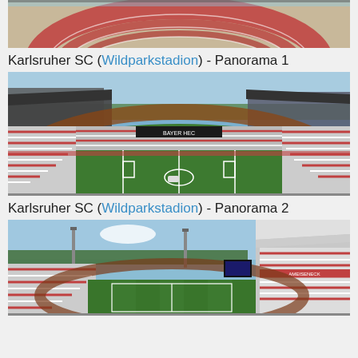[Figure (photo): Partial view of a stadium running track, cropped at top of page]
Karlsruher SC (Wildparkstadion) - Panorama 1
[Figure (photo): Panoramic interior view of Wildparkstadion showing the football pitch, running track, and empty red-and-white stands from a wide angle]
Karlsruher SC (Wildparkstadion) - Panorama 2
[Figure (photo): Second panoramic interior view of Wildparkstadion showing the football pitch, running track, grandstands and covered tribune from a different angle]